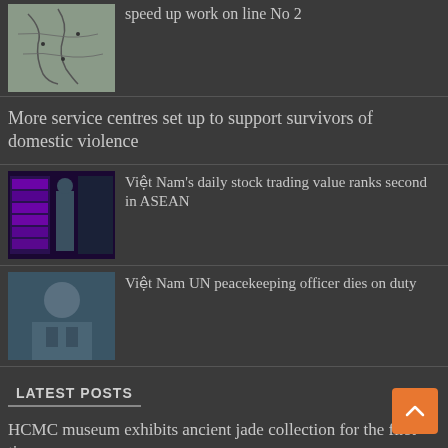[Figure (photo): Map image thumbnail]
speed up work on line No 2
More service centres set up to support survivors of domestic violence
[Figure (photo): Stock trading floor with screens showing data; person standing]
Việt Nam's daily stock trading value ranks second in ASEAN
[Figure (photo): Portrait of a person in uniform]
Việt Nam UN peacekeeping officer dies on duty
LATEST POSTS
HCMC museum exhibits ancient jade collection for the first time
[Figure (photo): Industrial scene, dark tones]
Pomina Steel's losses, debt worry auditor